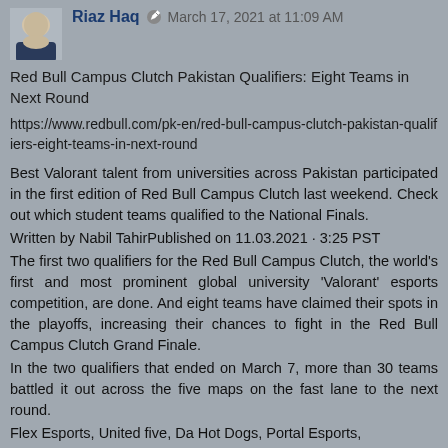Riaz Haq · March 17, 2021 at 11:09 AM
Red Bull Campus Clutch Pakistan Qualifiers: Eight Teams in Next Round
https://www.redbull.com/pk-en/red-bull-campus-clutch-pakistan-qualifiers-eight-teams-in-next-round
Best Valorant talent from universities across Pakistan participated in the first edition of Red Bull Campus Clutch last weekend. Check out which student teams qualified to the National Finals.
Written by Nabil TahirPublished on 11.03.2021 · 3:25 PST
The first two qualifiers for the Red Bull Campus Clutch, the world's first and most prominent global university 'Valorant' esports competition, are done. And eight teams have claimed their spots in the playoffs, increasing their chances to fight in the Red Bull Campus Clutch Grand Finale.
In the two qualifiers that ended on March 7, more than 30 teams battled it out across the five maps on the fast lane to the next round.
Flex Esports, United five, Da Hot Dogs, Portal Esports,